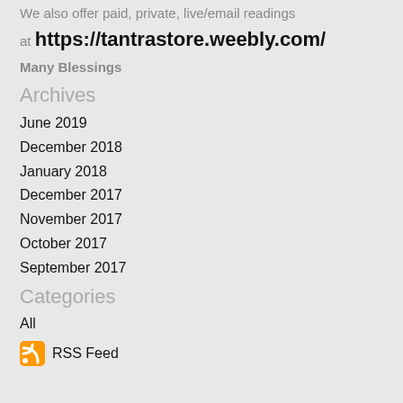We also offer paid, private, live/email readings at https://tantrastore.weebly.com/
Many Blessings
Archives
June 2019
December 2018
January 2018
December 2017
November 2017
October 2017
September 2017
Categories
All
RSS Feed